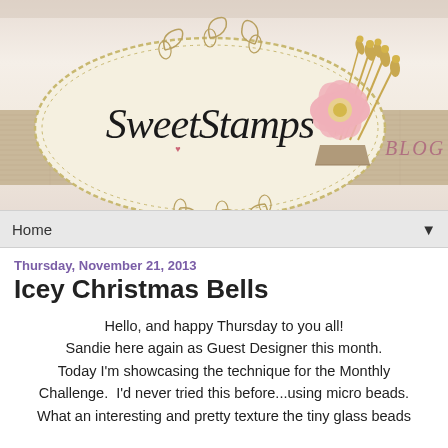[Figure (illustration): Sweet Stamps blog header banner with decorative oval logo containing cursive 'SweetStamps' text, burlap ribbon texture, pink flower, golden wheat stalks, and 'BLOG' text on the right side]
Home ▼
Thursday, November 21, 2013
Icey Christmas Bells
Hello, and happy Thursday to you all! Sandie here again as Guest Designer this month. Today I'm showcasing the technique for the Monthly Challenge.  I'd never tried this before...using micro beads. What an interesting and pretty texture the tiny glass beads